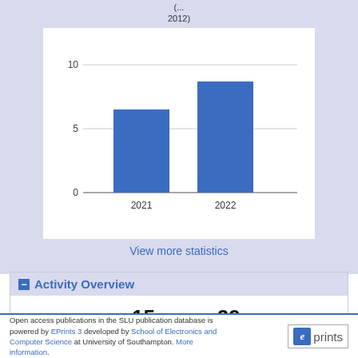(...2012)
[Figure (bar-chart): Downloads per year (2021-2022)]
View more statistics
Activity Overview
15
Downloads
29
Hits
Open access publications in the SLU publication database is powered by EPrints 3 developed by School of Electronics and Computer Science at University of Southampton. More information.